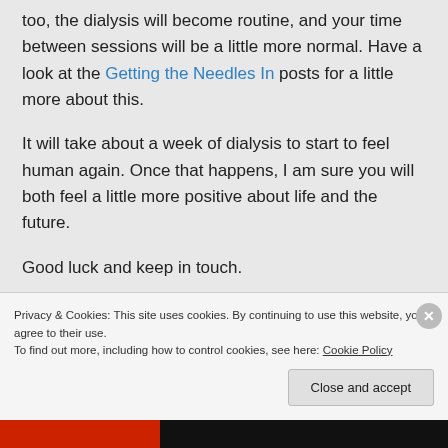too, the dialysis will become routine, and your time between sessions will be a little more normal. Have a look at the Getting the Needles In posts for a little more about this.
It will take about a week of dialysis to start to feel human again. Once that happens, I am sure you will both feel a little more positive about life and the future.
Good luck and keep in touch.
Privacy & Cookies: This site uses cookies. By continuing to use this website, you agree to their use. To find out more, including how to control cookies, see here: Cookie Policy